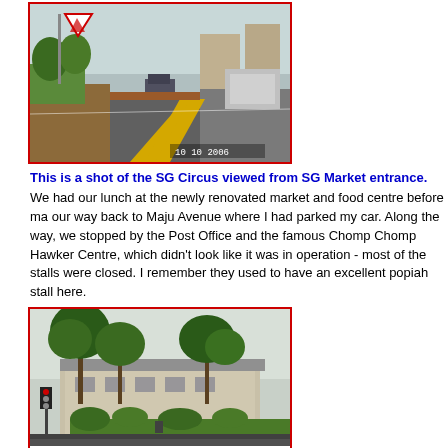[Figure (photo): Street view of SG Circus (roundabout area) viewed from SG Market entrance, showing road with yellow markings, vehicles, trees, buildings. Timestamp: 10 10 2006.]
This is a shot of the SG Circus viewed from SG Market entrance.
We had our lunch at the newly renovated market and food centre before making our way back to Maju Avenue where I had parked my car. Along the way, we stopped by the Post Office and the famous Chomp Chomp Hawker Centre, which didn't look like it was in operation - most of the stalls were closed. I remember they used to have an excellent popiah stall here.
[Figure (photo): Exterior view of Chomp Chomp Hawker Centre with large trees in front, traffic light, road, and shrubs. Timestamp: 10 10 2006.]